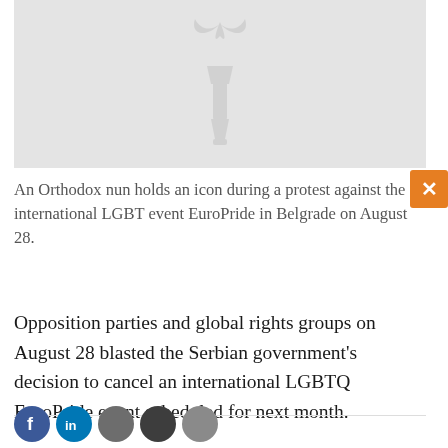[Figure (illustration): Placeholder image showing a grey background with a torch/flame logo icon in slightly darker grey, representing a news article image]
An Orthodox nun holds an icon during a protest against the international LGBT event EuroPride in Belgrade on August 28.
Opposition parties and global rights groups on August 28 blasted the Serbian government's decision to cancel an international LGBTQ EuroPride event scheduled for next month.